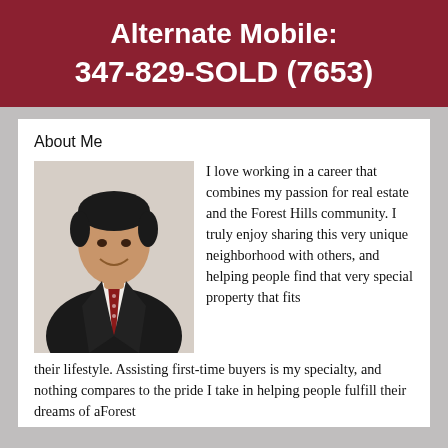Alternate Mobile:
347-829-SOLD (7653)
About Me
[Figure (photo): Professional headshot of a man in a dark suit with a red tie, smiling, against a light background]
I love working in a career that combines my passion for real estate and the Forest Hills community. I truly enjoy sharing this very unique neighborhood with others, and helping people find that very special property that fits their lifestyle. Assisting first-time buyers is my specialty, and nothing compares to the pride I take in helping people fulfill their dreams of aForest